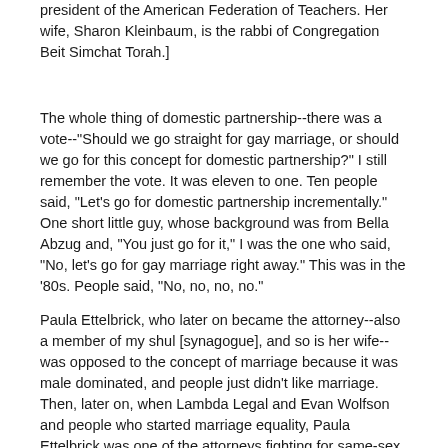president of the American Federation of Teachers. Her wife, Sharon Kleinbaum, is the rabbi of Congregation Beit Simchat Torah.]
The whole thing of domestic partnership--there was a vote--"Should we go straight for gay marriage, or should we go for this concept for domestic partnership?" I still remember the vote. It was eleven to one. Ten people said, "Let's go for domestic partnership incrementally." One short little guy, whose background was from Bella Abzug and, "You just go for it," I was the one who said, "No, let's go for gay marriage right away." This was in the '80s. People said, "No, no, no, no."
Paula Ettelbrick, who later on became the attorney--also a member of my shul [synagogue], and so is her wife--was opposed to the concept of marriage because it was male dominated, and people just didn't like marriage. Then, later on, when Lambda Legal and Evan Wolfson and people who started marriage equality, Paula Ettelbrick was one of the attorneys fighting for same-sex marriage, when back in the '80s, people were sort of opposed to it. Originally,